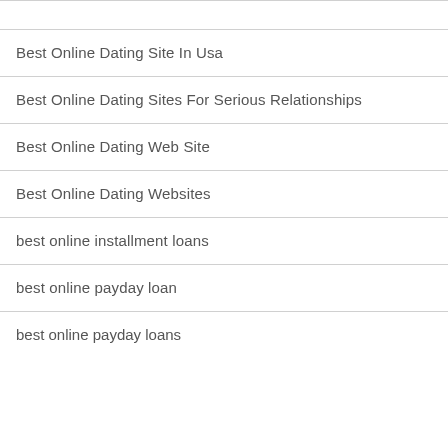Best Online Dating Site In Usa
Best Online Dating Sites For Serious Relationships
Best Online Dating Web Site
Best Online Dating Websites
best online installment loans
best online payday loan
best online payday loans